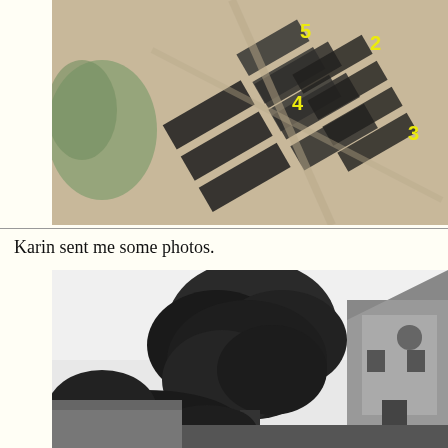[Figure (map): Aerial or map view of a neighbourhood with numbered buildings (2, 3, 4, 5) marked in yellow text, showing rows of buildings and green spaces, slightly blurred]
Karin sent me some photos.
[Figure (photo): Black and white historical photograph showing a large tree dominating the foreground with a brick building/house visible on the right side]